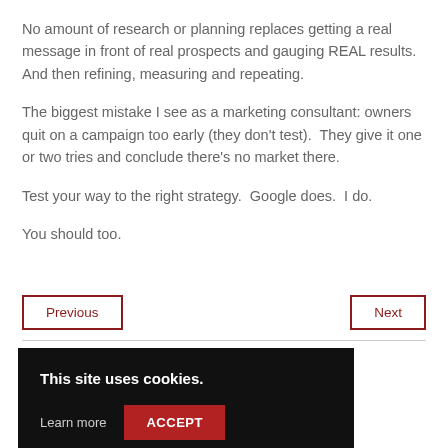No amount of research or planning replaces getting a real message in front of real prospects and gauging REAL results.  And then refining, measuring and repeating.
The biggest mistake I see as a marketing consultant: owners quit on a campaign too early (they don't test).  They give it one or two tries and conclude there's no market there.
Test your way to the right strategy.  Google does.  I do.
You should too.
Previous
Next
This site uses cookies.
Learn more   ACCEPT